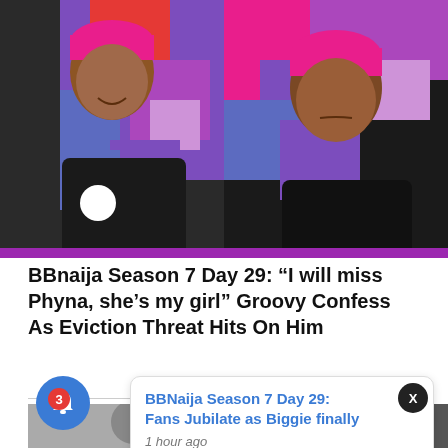[Figure (photo): Split image showing two views of a person with pink/magenta hair wearing a black t-shirt, set against a colorful graffiti-style background]
BBnaija Season 7 Day 29: “I will miss Phyna, she’s my girl” Groovy Confess As Eviction Threat Hits On Him
[Figure (photo): Thumbnail images at bottom of page showing partial views of people]
BBNaija Season 7 Day 29: Fans Jubilate as Biggie finally
1 hour ago